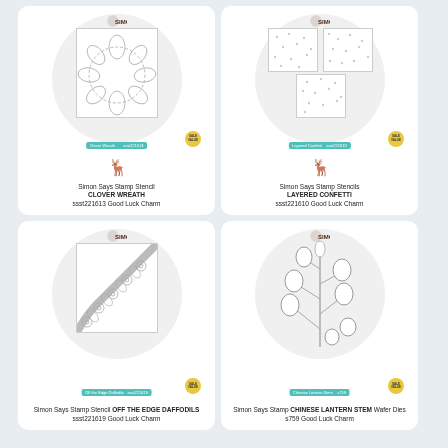[Figure (illustration): Simon Says Stamp product card: Stencil CLOVER WREATH ssst221613, showing a circular wreath stencil design with clover/leaf motif, with brand logo, teal label, sale badge, and deer icon]
Simon Says Stamp Stencil CLOVER WREATH ssst221613 Good Luck Charm
[Figure (illustration): Simon Says Stamp product card: Stencils LAYERED CONFETTI ssst221610, showing three confetti dot pattern squares, with brand logo, teal label, sale badge, and deer icon]
Simon Says Stamp Stencils LAYERED CONFETTI ssst221610 Good Luck Charm
[Figure (illustration): Simon Says Stamp product card: Stencil OFF THE EDGE DAFFODILS ssst221619, showing a floral daffodil corner edge stencil design, with brand logo, teal label, sale badge]
Simon Says Stamp Stencil OFF THE EDGE DAFFODILS ssst221619 Good Luck Charm
[Figure (illustration): Simon Says Stamp product card: CHINESE LANTERN STEM Wafer Dies s759, showing a botanical stem with lantern-shaped fruits/pods, with brand logo, teal label, sale badge]
Simon Says Stamp CHINESE LANTERN STEM Wafer Dies s759 Good Luck Charm